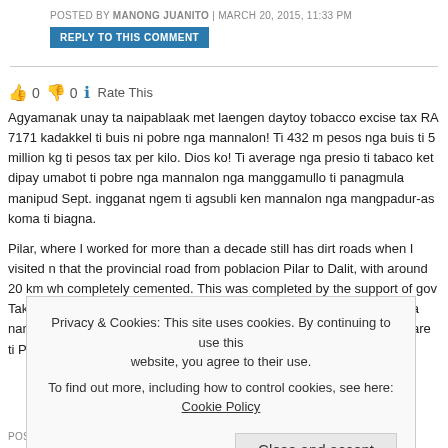POSTED BY MANONG JUANITO | MARCH 20, 2015, 11:33 PM
REPLY TO THIS COMMENT
👍 0 👎 0 ℹ Rate This
Agyamanak unay ta naipablaak met laengen daytoy tobacco excise tax RA 7171 kadakkel ti buis ni pobre nga mannalon! Ti 432 m pesos nga buis ti 5 million kg ti pesos tax per kilo. Dios ko! Ti average nga presio ti tabaco ket dipay umabot ti pobre nga mannalon nga manggamullo ti panagmula manipud Sept. ingganat ngem ti agsubli ken mannalon nga mangpadur-as koma ti biagna.
Pilar, where I worked for more than a decade still has dirt roads when I visited n that the provincial road from poblacion Pilar to Dalit, with around 20 km wh completely cemented. This was completed by the support of gov Takit according n SBs . No awan ni gov. Ken ti KALAHI PROGRAM nga nangsemento ti Patad nga nasemento sa diay ti laksid ti kadakkel ti share ti Pilar. Napanan ti kuarta? N
Privacy & Cookies: This site uses cookies. By continuing to use this website, you agree to their use.
To find out more, including how to control cookies, see here: Cookie Policy
Close and accept
POSTED BY TAGAMASID | MARCH 22, 2015, 10:57 AM